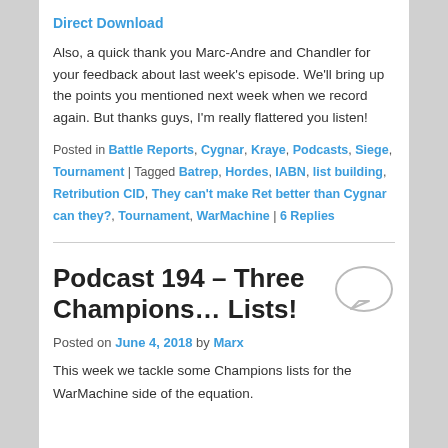Direct Download
Also, a quick thank you Marc-Andre and Chandler for your feedback about last week’s episode. We’ll bring up the points you mentioned next week when we record again. But thanks guys, I’m really flattered you listen!
Posted in Battle Reports, Cygnar, Kraye, Podcasts, Siege, Tournament | Tagged Batrep, Hordes, IABN, list building, Retribution CID, They can’t make Ret better than Cygnar can they?, Tournament, WarMachine | 6 Replies
Podcast 194 – Three Champions… Lists!
Posted on June 4, 2018 by Marx
This week we tackle some Champions lists for the WarMachine side of the equation.